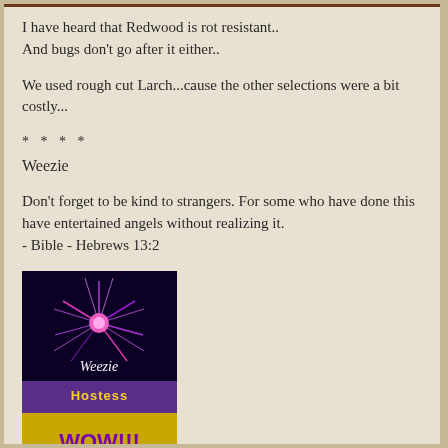I have heard that Redwood is rot resistant..
And bugs don't go after it either..
We used rough cut Larch...cause the other selections were a bit costly...
* * * *
Weezie
Don't forget to be kind to strangers. For some who have done this have entertained angels without realizing it.
- Bible - Hebrews 13:2
[Figure (illustration): Avatar image with purple/pink firework-like design on dark background with 'Weezie' text overlay]
[Figure (illustration): Two-part badge: top purple section with 'Hostess' text in gold, bottom yellow section with 'WOW!!!' text in purple]